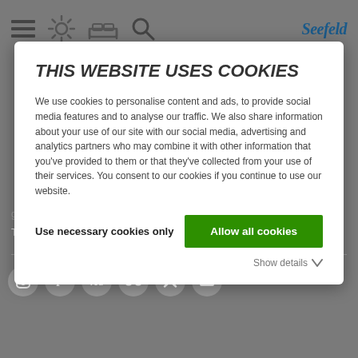[Figure (screenshot): Website header navigation bar with hamburger menu, sun/weather icon, bed/accommodation icon, search icon, and Seefeld logo in blue italic text on grey background]
THIS WEBSITE USES COOKIES
We use cookies to personalise content and ads, to provide social media features and to analyse our traffic. We also share information about your use of our site with our social media, advertising and analytics partners who may combine it with other information that you've provided to them or that they've collected from your use of their services. You consent to our cookies if you continue to use our website.
Use necessary cookies only
Allow all cookies
Show details
Terms and Conditions | Webmail |
[Figure (other): Row of social media icons (Instagram, Facebook, YouTube, another icon, Twitter/X, another icon) as circular grey buttons at the bottom of the page]